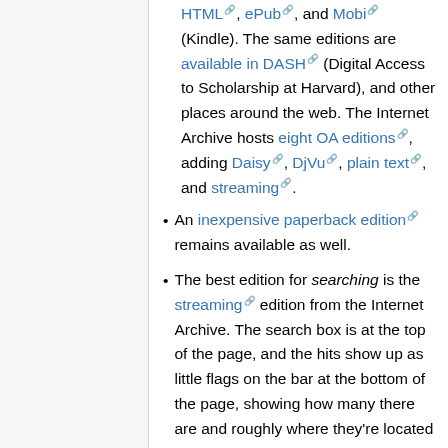HTML, ePub, and Mobi (Kindle). The same editions are available in DASH (Digital Access to Scholarship at Harvard), and other places around the web. The Internet Archive hosts eight OA editions, adding Daisy, DjVu, plain text, and streaming.
An inexpensive paperback edition remains available as well.
The best edition for searching is the streaming edition from the Internet Archive. The search box is at the top of the page, and the hits show up as little flags on the bar at the bottom of the page, showing how many there are and roughly where they're located in the book. Clicking on a search result will jump you to the full text, in full context, including the